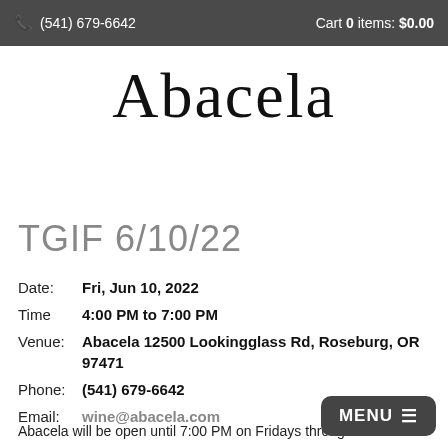(541) 679-6642   Cart 0 items: $0.00
Abacela
TGIF 6/10/22
Date: Fri, Jun 10, 2022
Time: 4:00 PM to 7:00 PM
Venue: Abacela 12500 Lookingglass Rd, Roseburg, OR 97471
Phone: (541) 679-6642
Email: wine@abacela.com
Abacela will be open until 7:00 PM on Fridays through the